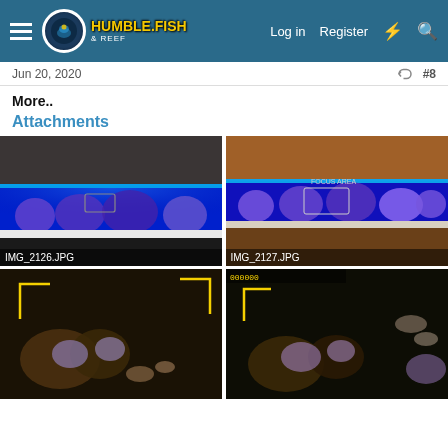Humble Fish & Reef — Log in | Register
Jun 20, 2020  #8
More..
Attachments
[Figure (photo): Aquarium photo with blue LED lighting showing reef/coral rocks. Filename label: IMG_2126.JPG]
[Figure (photo): Aquarium photo with blue LED lighting showing reef/coral rocks in warm-toned room. Filename label: IMG_2127.JPG]
[Figure (photo): Close-up aquarium photo with yellow UI overlay frame and coral/fish visible.]
[Figure (photo): Aquarium photo with yellow UI overlay frame, coral and fish visible on dark background with timestamp overlay.]